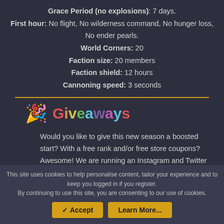Grace Period (no explosions): 7 days.
First hour: No flight, No wilderness command, No hunger loss, No ender pearls.
World Corners: 20
Faction size: 20 members
Faction shield: 12 hours
Cannoning speed: 3 seconds
🎉 Giveaways
Would you like to give this new season a boosted start? With a free rank and/or free store coupons? Awesome! We are running an Instagram and Twitter
This site uses cookies to help personalise content, tailor your experience and to keep you logged in if you register. By continuing to use this site, you are consenting to our use of cookies.